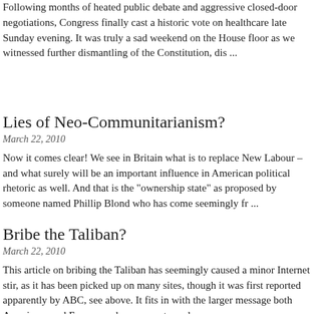Following months of heated public debate and aggressive closed-door negotiations, Congress finally cast a historic vote on healthcare late Sunday evening. It was truly a sad weekend on the House floor as we witnessed further dismantling of the Constitution, dis ...
Lies of Neo-Communitarianism?
March 22, 2010
Now it comes clear! We see in Britain what is to replace New Labour – and what surely will be an important influence in American political rhetoric as well. And that is the "ownership state" as proposed by someone named Phillip Blond who has come seemingly fr ...
Bribe the Taliban?
March 22, 2010
This article on bribing the Taliban has seemingly caused a minor Internet stir, as it has been picked up on many sites, though it was first reported apparently by ABC, see above. It fits in with the larger message both Americans and Europeans have come to under ...